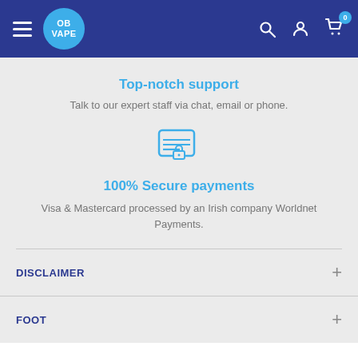OB VAPE navigation header with hamburger menu, logo, search, account, and cart icons
Top-notch support
Talk to our expert staff via chat, email or phone.
[Figure (illustration): Secure card/lock icon — a credit card with horizontal lines and a padlock overlay, in blue outline style]
100% Secure payments
Visa & Mastercard processed by an Irish company Worldnet Payments.
DISCLAIMER
FOOT